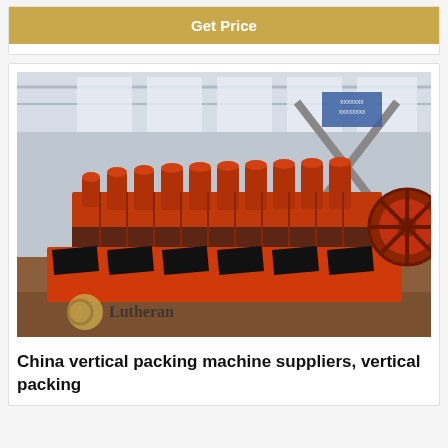Get Price
[Figure (photo): Industrial factory floor showing a row of orange-colored flotation machine equipment (vertical packing machines) lined up in a large warehouse/industrial hall. The machines are heavy industrial equipment painted bright orange/red. A watermark 'Lutheran' with a logo appears in the lower left corner.]
China vertical packing machine suppliers, vertical packing